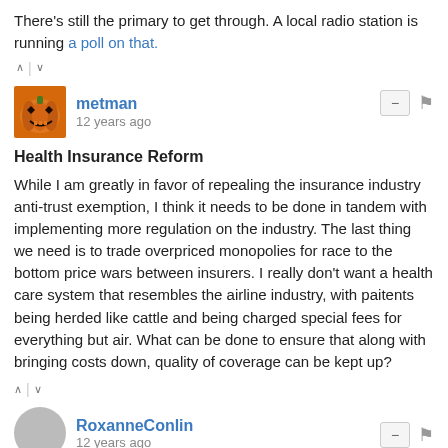There's still the primary to get through. A local radio station is running a poll on that.
↑ | ↓
metman
12 years ago
Health Insurance Reform
While I am greatly in favor of repealing the insurance industry anti-trust exemption, I think it needs to be done in tandem with implementing more regulation on the industry. The last thing we need is to trade overpriced monopolies for race to the bottom price wars between insurers. I really don't want a health care system that resembles the airline industry, with paitents being herded like cattle and being charged special fees for everything but air. What can be done to ensure that along with bringing costs down, quality of coverage can be kept up?
↑ | ↓
RoxanneConlin
12 years ago